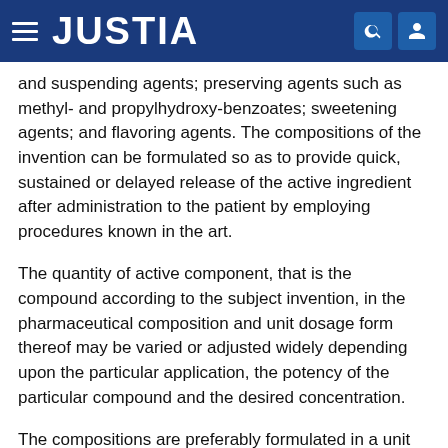JUSTIA
and suspending agents; preserving agents such as methyl- and propylhydroxy-benzoates; sweetening agents; and flavoring agents. The compositions of the invention can be formulated so as to provide quick, sustained or delayed release of the active ingredient after administration to the patient by employing procedures known in the art.
The quantity of active component, that is the compound according to the subject invention, in the pharmaceutical composition and unit dosage form thereof may be varied or adjusted widely depending upon the particular application, the potency of the particular compound and the desired concentration.
The compositions are preferably formulated in a unit dosage form, each dosage containing from about 5 to about 100 mg, more usually about 10 to about 30 mg, of